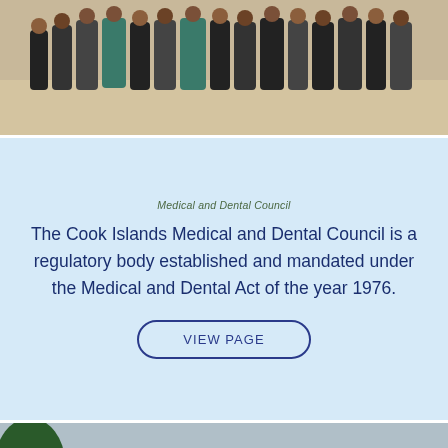[Figure (photo): Group photo of people seated and standing on a beach, formal attire, sandy background]
Medical and Dental Council
The Cook Islands Medical and Dental Council is a regulatory body established and mandated under the Medical and Dental Act of the year 1976.
VIEW PAGE
[Figure (photo): Large group photo of people in blue and purple uniforms on a beach with ocean and sky in background, with a scroll-up button overlay]